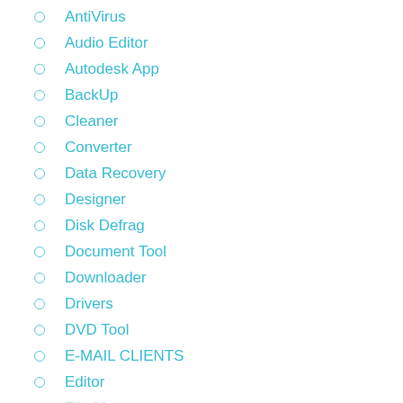AntiVirus
Audio Editor
Autodesk App
BackUp
Cleaner
Converter
Data Recovery
Designer
Disk Defrag
Document Tool
Downloader
Drivers
DVD Tool
E-MAIL CLIENTS
Editor
File Manager